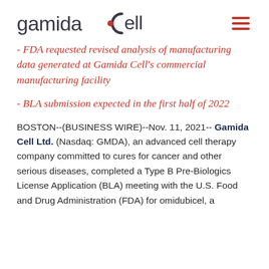[Figure (logo): Gamida Cell company logo with red dot inside letter C, and red hamburger menu icon on the right]
- FDA requested revised analysis of manufacturing data generated at Gamida Cell's commercial manufacturing facility
- BLA submission expected in the first half of 2022
BOSTON--(BUSINESS WIRE)--Nov. 11, 2021-- Gamida Cell Ltd. (Nasdaq: GMDA), an advanced cell therapy company committed to cures for cancer and other serious diseases, completed a Type B Pre-Biologics License Application (BLA) meeting with the U.S. Food and Drug Administration (FDA) for omidubicel, a